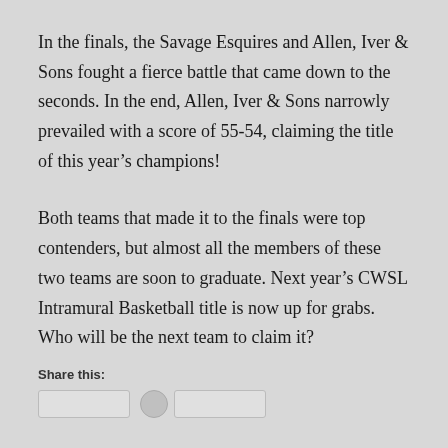In the finals, the Savage Esquires and Allen, Iver & Sons fought a fierce battle that came down to the seconds. In the end, Allen, Iver & Sons narrowly prevailed with a score of 55-54, claiming the title of this year's champions!
Both teams that made it to the finals were top contenders, but almost all the members of these two teams are soon to graduate. Next year's CWSL Intramural Basketball title is now up for grabs. Who will be the next team to claim it?
Share this: